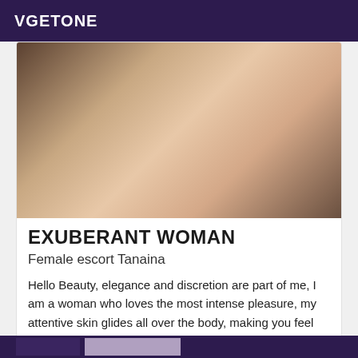VGETONE
[Figure (photo): Close-up photo of a woman's body in white underwear against a dark background]
EXUBERANT WOMAN
Female escort Tanaina
Hello Beauty, elegance and discretion are part of me, I am a woman who loves the most intense pleasure, my attentive skin glides all over the body, making you feel the most desired man ... I am ideal to convert your desires and fantasies.